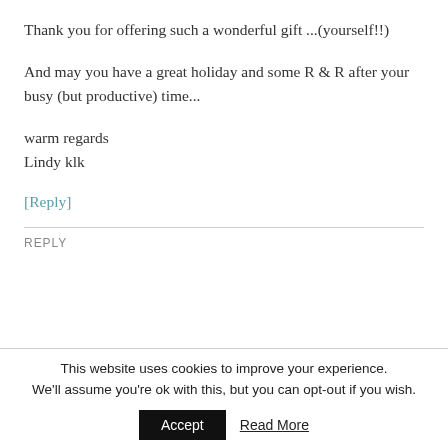Thank you for offering such a wonderful gift ...(yourself!!)
And may you have a great holiday and some R & R after your busy (but productive) time...
warm regards
Lindy klk
[Reply]
REPLY
This website uses cookies to improve your experience. We'll assume you're ok with this, but you can opt-out if you wish.
Accept
Read More